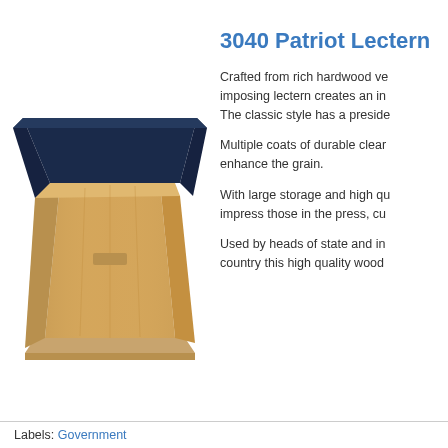[Figure (photo): A wooden lectern/podium with a dark navy blue slanted top surface and a warm oak wood body, shown at a slight angle. The lectern has a wide base and tapers toward the top.]
3040 Patriot Lectern
Crafted from rich hardwood ve imposing lectern creates an in The classic style has a preside
Multiple coats of durable clear enhance the grain.
With large storage and high qu impress those in the press, cu
Used by heads of state and in country this high quality wood
Labels: Government